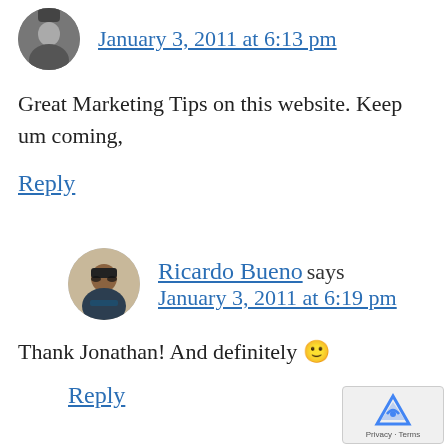[Figure (photo): Small circular avatar of a person in black and white photo]
January 3, 2011 at 6:13 pm
Great Marketing Tips on this website. Keep um coming,
Reply
[Figure (photo): Circular avatar photo of Ricardo Bueno, a man with glasses and dark jacket]
Ricardo Bueno says January 3, 2011 at 6:19 pm
Thank Jonathan! And definitely 🙂
Reply